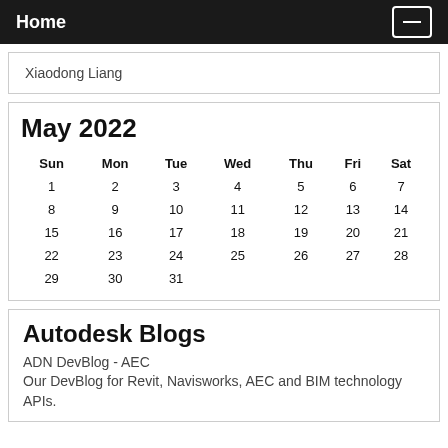Home
Xiaodong Liang
| Sun | Mon | Tue | Wed | Thu | Fri | Sat |
| --- | --- | --- | --- | --- | --- | --- |
| 1 | 2 | 3 | 4 | 5 | 6 | 7 |
| 8 | 9 | 10 | 11 | 12 | 13 | 14 |
| 15 | 16 | 17 | 18 | 19 | 20 | 21 |
| 22 | 23 | 24 | 25 | 26 | 27 | 28 |
| 29 | 30 | 31 |  |  |  |  |
May 2022
Autodesk Blogs
ADN DevBlog - AEC
Our DevBlog for Revit, Navisworks, AEC and BIM technology APIs.